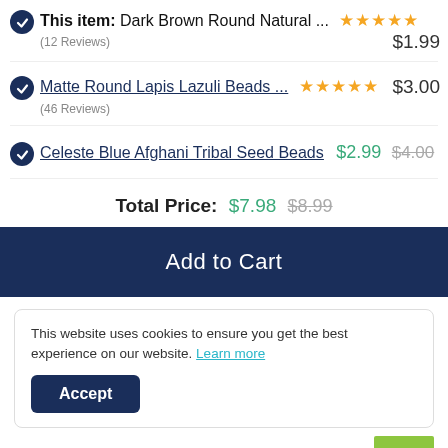This item: Dark Brown Round Natural ... ★★★★★ (12 Reviews) $1.99
Matte Round Lapis Lazuli Beads ... ★★★★★ (46 Reviews) $3.00
Celeste Blue Afghani Tribal Seed Beads $2.99 $4.00
Total Price: $7.98 $8.99
Add to Cart
This website uses cookies to ensure you get the best experience on our website. Learn more
Accept